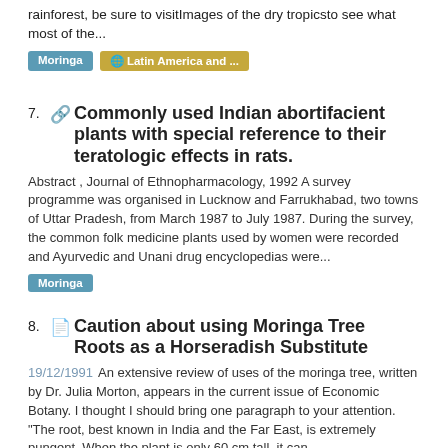rainforest, be sure to visitImages of the dry tropicsto see what most of the...
Moringa | Latin America and ...
7. Commonly used Indian abortifacient plants with special reference to their teratologic effects in rats. Abstract , Journal of Ethnopharmacology, 1992 A survey programme was organised in Lucknow and Farrukhabad, two towns of Uttar Pradesh, from March 1987 to July 1987. During the survey, the common folk medicine plants used by women were recorded and Ayurvedic and Unani drug encyclopedias were... Moringa
8. Caution about using Moringa Tree Roots as a Horseradish Substitute 19/12/1991 An extensive review of uses of the moringa tree, written by Dr. Julia Morton, appears in the current issue of Economic Botany. I thought I should bring one paragraph to your attention. "The root, best known in India and the Far East, is extremely pungent. When the plant is only 60 cm tall, it can... Moringa | Horseradish Tree